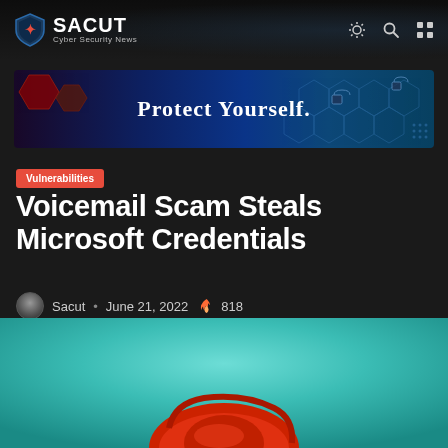SACUT Cyber Security News
[Figure (infographic): Protect Yourself. cyber security banner with hexagonal background pattern and lock icons]
Vulnerabilities
Voicemail Scam Steals Microsoft Credentials
Sacut • June 21, 2022 🔥 818
[Figure (photo): Red telephone handset on teal/turquoise background]